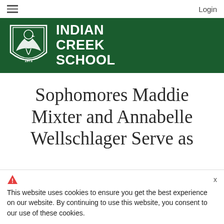Login
[Figure (logo): Indian Creek School logo — green banner with shield/eagle logo and white bold text reading INDIAN CREEK SCHOOL, founded 1973]
Sophomores Maddie Mixter and Annabelle Wellschlager Serve as
This website uses cookies to ensure you get the best experience on our website. By continuing to use this website, you consent to our use of these cookies.